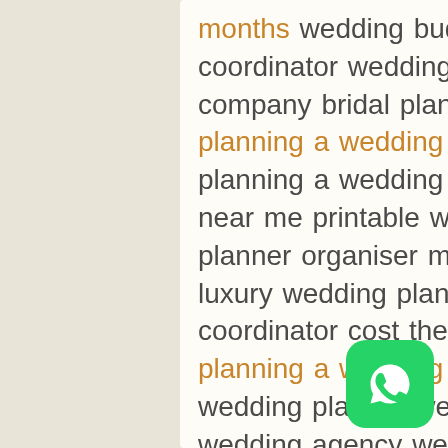months wedding budget planner day of coordinator wedding consultant wedding company bridal planner proposal planner planning a wedding in 3 months steps to planning a wedding wedding coordinator near me printable wedding planner wedding planner organiser maid of honor planner luxury wedding planner day of wedding coordinator cost the wedding company planning a wedding in 3 months my wedding planner wedding coordinator cost wedding agency wedding planner packages marriage planner planning a wedding in 3 months wedding planning for dummies day of coordinator cost wedding planner prices plan your wedding the wedding planner & organizer wedding planning services wedding and event planner wedding planning companies wedding planning sites planning a wedding in 3 months
[Figure (logo): WhatsApp logo button — green rounded square with white phone/chat icon]